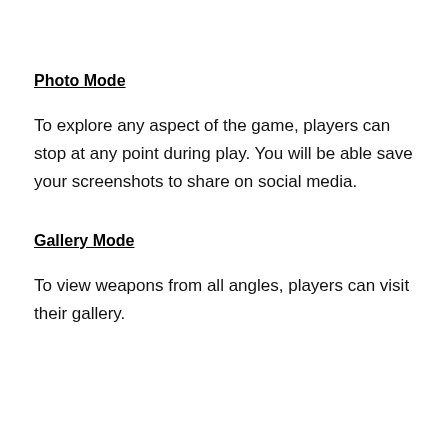Photo Mode
To explore any aspect of the game, players can stop at any point during play. You will be able save your screenshots to share on social media.
Gallery Mode
To view weapons from all angles, players can visit their gallery.